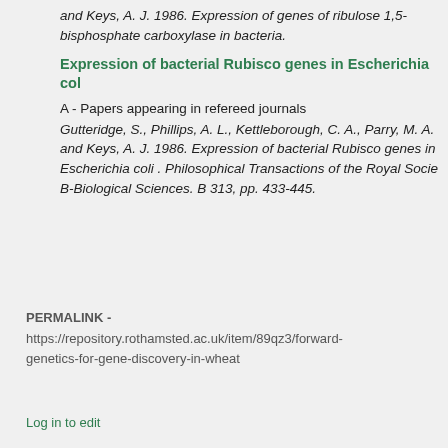and Keys, A. J. 1986. Expression of genes of ribulose 1,5-bisphosphate carboxylase in bacteria.
Expression of bacterial Rubisco genes in Escherichia col
A - Papers appearing in refereed journals
Gutteridge, S., Phillips, A. L., Kettleborough, C. A., Parry, M. A. and Keys, A. J. 1986. Expression of bacterial Rubisco genes in Escherichia coli . Philosophical Transactions of the Royal Socie B-Biological Sciences. B 313, pp. 433-445.
PERMALINK -
https://repository.rothamsted.ac.uk/item/89qz3/forward-genetics-for-gene-discovery-in-wheat
Log in to edit